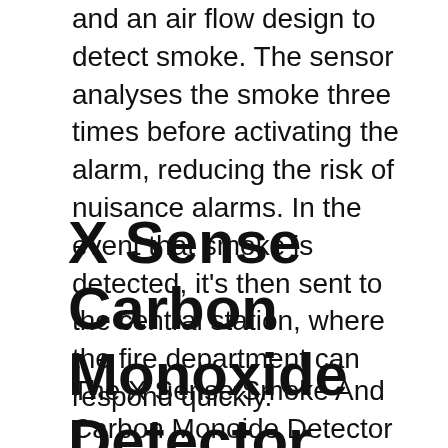and an air flow design to detect smoke. The sensor analyses the smoke three times before activating the alarm, reducing the risk of nuisance alarms. In the event that smoke is detected, it's then sent to the central station, where the fire department can respond quickly.
X Sense Carbon Monoxide Detector
The X Sense Smoke And Carbon Monoide Detector makes a great device for homes that use fuel but not naturally. The unit is 7.7 ounces in weight, has a circular shape, and colored lights that indicate its health. It is easy to install, and it comes with three